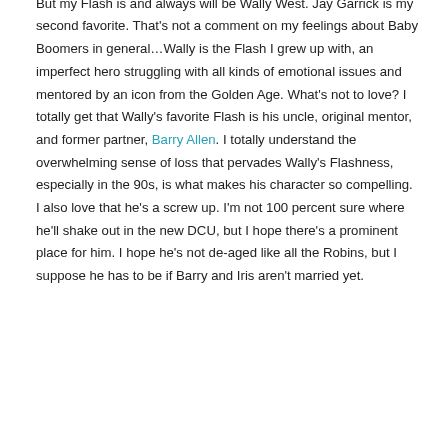Flash #1. There's a very special place in my heart for the Flash. But my Flash is and always will be Wally West. Jay Garrick is my second favorite. That's not a comment on my feelings about Baby Boomers in general…Wally is the Flash I grew up with, an imperfect hero struggling with all kinds of emotional issues and mentored by an icon from the Golden Age. What's not to love? I totally get that Wally's favorite Flash is his uncle, original mentor, and former partner, Barry Allen. I totally understand the overwhelming sense of loss that pervades Wally's Flashness, especially in the 90s, is what makes his character so compelling. I also love that he's a screw up. I'm not 100 percent sure where he'll shake out in the new DCU, but I hope there's a prominent place for him. I hope he's not de-aged like all the Robins, but I suppose he has to be if Barry and Iris aren't married yet.